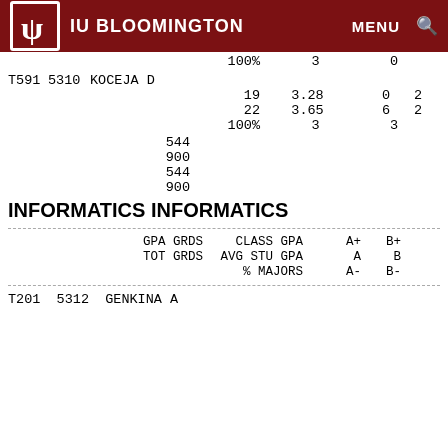IU BLOOMINGTON  MENU  [search]
|  |  |  | GPA/100% | GRDS/CLASS | A+/3 | B+/0 |
| --- | --- | --- | --- | --- | --- | --- |
| T591 | 5310 | KOCEJA D |  |  |  |  |
|  |  |  | 19 | 3.28 | 0 | 2 |
|  |  |  | 22 | 3.65 | 6 | 2 |
|  |  |  | 100% | 3 | 3 |  |
|  |  | 544 |  |  |  |  |
|  |  | 900 |  |  |  |  |
|  |  | 544 |  |  |  |  |
|  |  | 900 |  |  |  |  |
INFORMATICS INFORMATICS
| GPA GRDS | CLASS GPA | A+ | B+ | TOT GRDS | AVG STU GPA | A | B | % MAJORS | A- | B- |
| --- | --- | --- | --- | --- | --- | --- | --- | --- | --- | --- |
T201  5312  GENKINA A